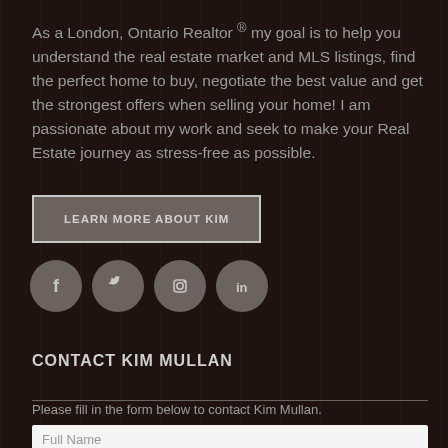As a London, Ontario Realtor ® my goal is to help you understand the real estate market and MLS listings, find the perfect home to buy, negotiate the best value and get the strongest offers when selling your home! I am passionate about my work and seek to make your Real Estate journey as stress-free as possible.
LEARN MORE ABOUT KIM
[Figure (illustration): Four social media icon circles: Facebook, Twitter, Instagram, LinkedIn]
CONTACT KIM MULLAN
Please fill in the form below to contact Kim Mullan.
Full Name